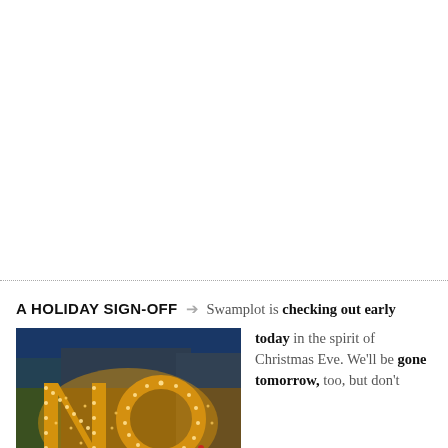[Figure (photo): Photo of large illuminated 'NO' letters made of string lights, displayed outdoors at night in front of a building, with city lights in background.]
A HOLIDAY SIGN-OFF
Swamplot is checking out early today in the spirit of Christmas Eve. We'll be gone tomorrow, too, but don't